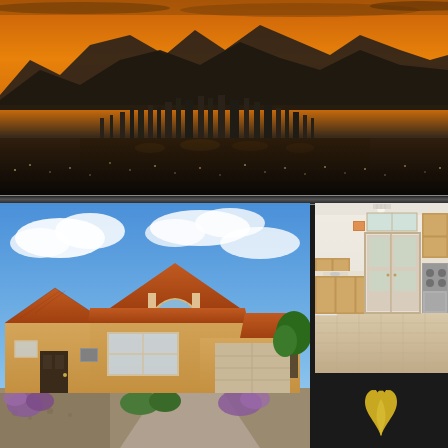[Figure (photo): Aerial panoramic view of Las Vegas city skyline at sunset with orange sky and mountain backdrop]
[Figure (photo): Exterior photo of a single-story Southwest-style home with terracotta tile roof, stucco exterior, garage, and desert landscaping with purple flowering plants]
[Figure (photo): Interior kitchen photo showing white cabinets, tile floor, and French doors leading to backyard]
[Figure (logo): Golden wing/flame logo on dark background, real estate company logo]